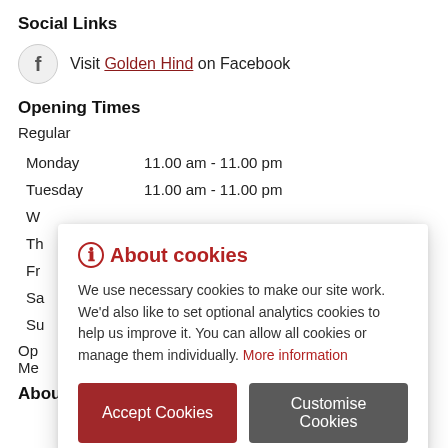Social Links
Visit Golden Hind on Facebook
Opening Times
Regular
| Day | Hours |
| --- | --- |
| Monday | 11.00 am - 11.00 pm |
| Tuesday | 11.00 am - 11.00 pm |
| W... |  |
| Th... |  |
| Fr... |  |
| Sa... |  |
| Su... |  |
About the Pub
[Figure (screenshot): Cookie consent dialog overlay with title 'About cookies', body text about necessary and optional analytics cookies, 'More information' link, and two buttons: 'Accept Cookies' (red) and 'Customise Cookies' (dark grey).]